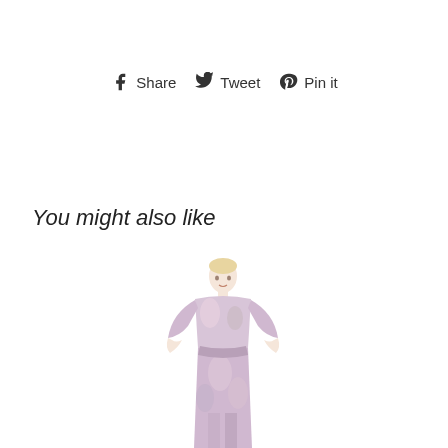Share  Tweet  Pin it
You might also like
[Figure (photo): A female model wearing a long floral printed wrap dress in pastel pink, purple, and grey tones, with 3/4 sleeves, belted at the waist, standing against a white background.]